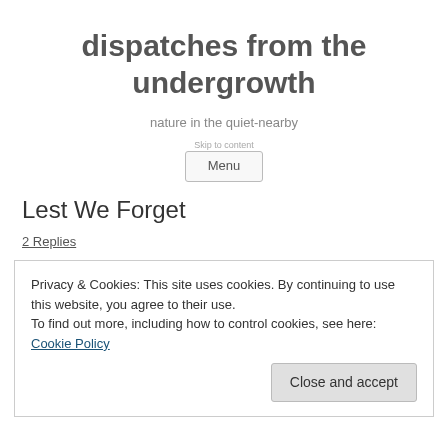dispatches from the undergrowth
nature in the quiet-nearby
Menu
Lest We Forget
2 Replies
Privacy & Cookies: This site uses cookies. By continuing to use this website, you agree to their use.
To find out more, including how to control cookies, see here: Cookie Policy
Close and accept